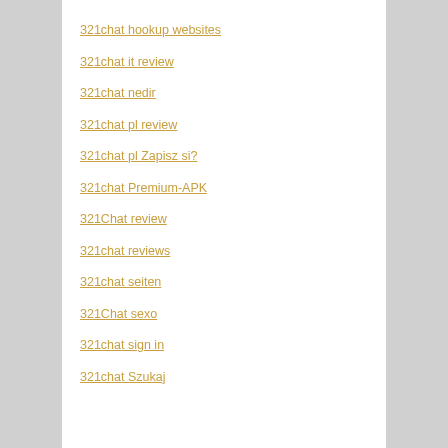321chat hookup websites
321chat it review
321chat nedir
321chat pl review
321chat pl Zapisz si?
321chat Premium-APK
321Chat review
321chat reviews
321chat seiten
321Chat sexo
321chat sign in
321chat Szukaj